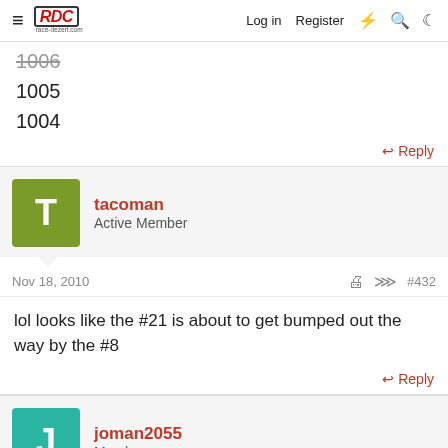race-dezert.com | Log in | Register
1006
1005
1004
Reply
tacoman
Active Member
Nov 18, 2010
#432
lol looks like the #21 is about to get bumped out the way by the #8
Reply
joman2055
Member
Nov 18, 2010
#433